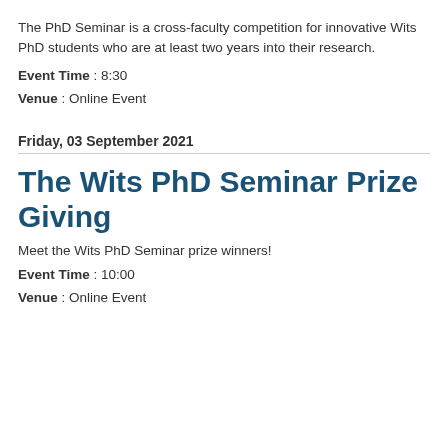The PhD Seminar is a cross-faculty competition for innovative Wits PhD students who are at least two years into their research.
Event Time : 8:30
Venue : Online Event
Friday, 03 September 2021
The Wits PhD Seminar Prize Giving
Meet the Wits PhD Seminar prize winners!
Event Time : 10:00
Venue : Online Event